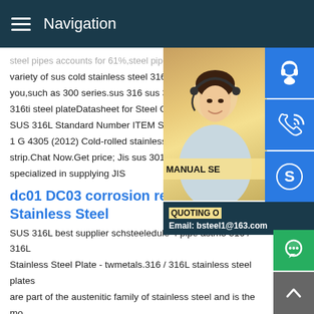Navigation
steel pipes accounts for 61%,steel pipes a variety of sus cold stainless steel 316l tube you,such as 300 series.sus 316 sus 316l s 316ti steel plateDatasheet for Steel Grade SUS 316L Standard Number ITEM Standa 1 G 4305 (2012) Cold-rolled stainless stee strip.Chat Now.Get price; Jis sus 301 wire specialized in supplying JIS
[Figure (photo): Customer service representative woman with headset, and contact icons (headset, phone, Skype) on blue background, with MANUAL SERVICE, QUOTING O, and Email: bsteel1@163.com overlay text]
dc01 DC03 corrosion resistant Stainless Steel
SUS 316L best supplier schsteeledule 4 pipe astm3 316 / 316L Stainless Steel Plate - twmetals.316 / 316L stainless steel plates are part of the austenitic family of stainless steel and is the most widely used varieties of stainless plate.316 grades contain a higher level of Nickel than 304 giving it an improved corrosion resistance. overbest supplier schsteeledule 4 pipe astm3 - Welded Steel